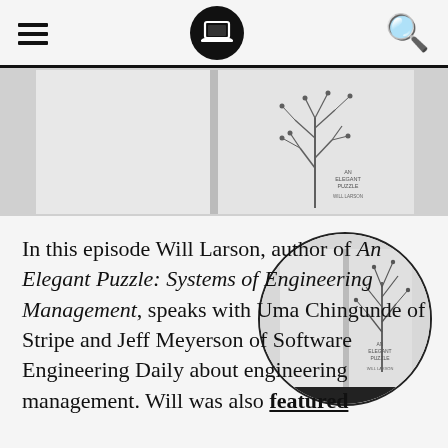[Navigation bar with hamburger menu, laptop logo, and search icon]
[Figure (photo): Open book with a botanical plant illustration on a light gray background, shown from above.]
[Figure (photo): Circular cropped photo of the same open book with botanical plant illustration.]
In this episode Will Larson, author of An Elegant Puzzle: Systems of Engineering Management, speaks with Uma Chingunde of Stripe and Jeff Meyerson of Software Engineering Daily about engineering management. Will was also featured